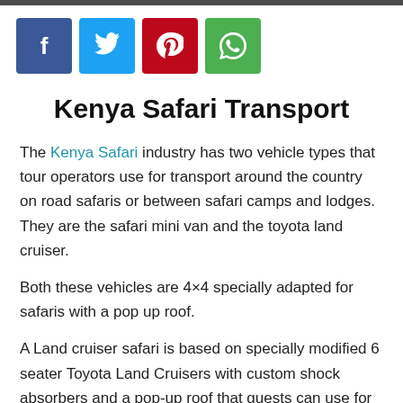[Figure (other): Four social media share buttons: Facebook (blue), Twitter (cyan), Pinterest (red), WhatsApp (green)]
Kenya Safari Transport
The Kenya Safari industry has two vehicle types that tour operators use for transport around the country on road safaris or between safari camps and lodges. They are the safari mini van and the toyota land cruiser.
Both these vehicles are 4×4 specially adapted for safaris with a pop up roof.
A Land cruiser safari is based on specially modified 6 seater Toyota Land Cruisers with custom shock absorbers and a pop-up roof that guests can use for wildlife viewing or